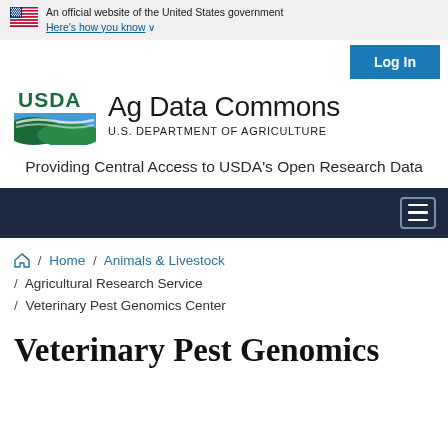An official website of the United States government Here's how you know
[Figure (logo): USDA Ag Data Commons logo with USDA shield/landscape icon and text 'Ag Data Commons U.S. DEPARTMENT OF AGRICULTURE']
Providing Central Access to USDA's Open Research Data
Home / Animals & Livestock / Agricultural Research Service / Veterinary Pest Genomics Center
Veterinary Pest Genomics Center